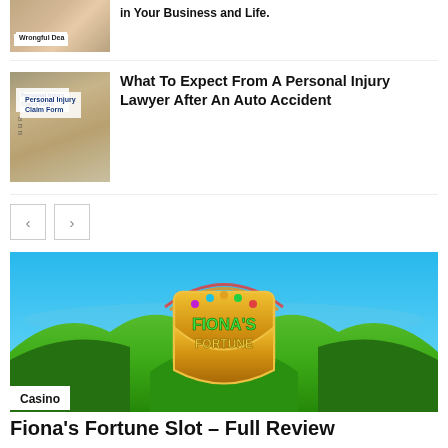in Your Business and Life.
[Figure (photo): Wrongful Death document thumbnail]
What To Expect From A Personal Injury Lawyer After An Auto Accident
[Figure (photo): Personal Injury Claim Form document thumbnail]
[Figure (illustration): Navigation arrows, previous and next]
[Figure (screenshot): Fiona's Fortune slot game banner with green hills and golden shield logo]
Casino
Fiona's Fortune Slot – Full Review